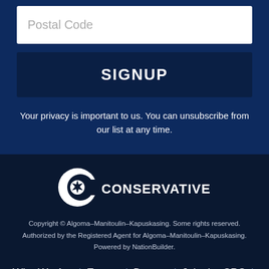Postal Code
SIGNUP
Your privacy is important to us. You can unsubscribe from our list at any time.
[Figure (logo): Conservative Party of Canada logo - white C with maple leaf and CONSERVATIVE text]
Copyright © Algoma–Manitoulin–Kapuskasing. Some rights reserved. Authorized by the Registered Agent for Algoma–Manitoulin–Kapuskasing. Powered by NationBuilder.
Who We Are | Events | Donate | Join the CPC | Contact us | Home